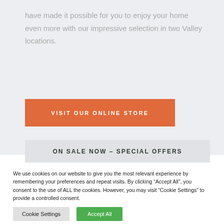have made it possible for you to enjoy your home even more with our impressive selection in two Valley locations.
VISIT OUR ONLINE STORE
ON SALE NOW – SPECIAL OFFERS
We use cookies on our website to give you the most relevant experience by remembering your preferences and repeat visits. By clicking “Accept All”, you consent to the use of ALL the cookies. However, you may visit "Cookie Settings" to provide a controlled consent.
Cookie Settings
Accept All